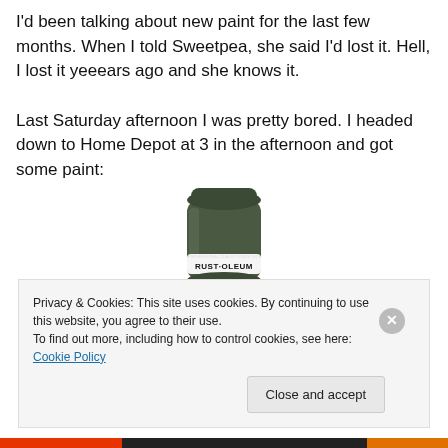I'd been talking about new paint for the last few months. When I told Sweetpea, she said I'd lost it. Hell, I lost it yeeears ago and she knows it.

Last Saturday afternoon I was pretty bored. I headed down to Home Depot at 3 in the afternoon and got some paint:
[Figure (photo): A dark green Rust-Oleum spray paint can]
Privacy & Cookies: This site uses cookies. By continuing to use this website, you agree to their use.
To find out more, including how to control cookies, see here: Cookie Policy
Close and accept